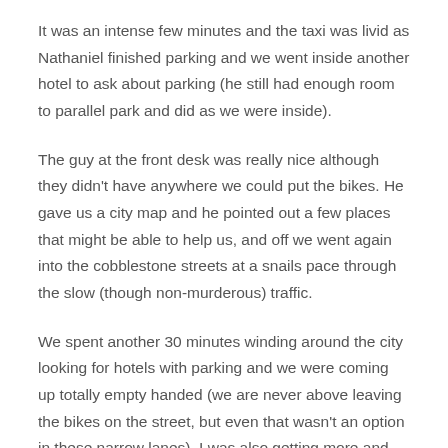It was an intense few minutes and the taxi was livid as Nathaniel finished parking and we went inside another hotel to ask about parking (he still had enough room to parallel park and did as we were inside).
The guy at the front desk was really nice although they didn't have anywhere we could put the bikes. He gave us a city map and he pointed out a few places that might be able to help us, and off we went again into the cobblestone streets at a snails pace through the slow (though non-murderous) traffic.
We spent another 30 minutes winding around the city looking for hotels with parking and we were coming up totally empty handed (we are never above leaving the bikes on the street, but even that wasn't an option in these narrow lanes). I was also getting more and more nervous because riding a motorcycle on cobblestone is